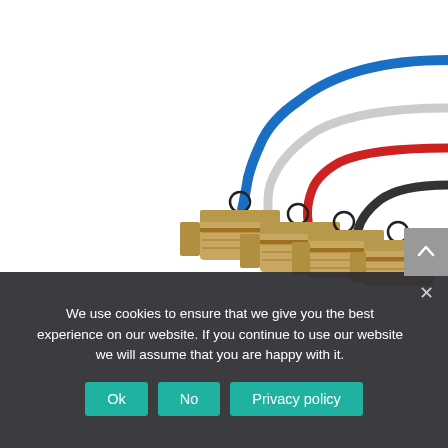[Figure (photo): Photo of multiple QSFP network cable connectors with colored cables (blue, white, red, black) attached to gold-plated metal connectors with pull-tabs, on a white background.]
We use cookies to ensure that we give you the best experience on our website. If you continue to use our website we will assume that you are happy with it.
Ok
No
Privacy policy